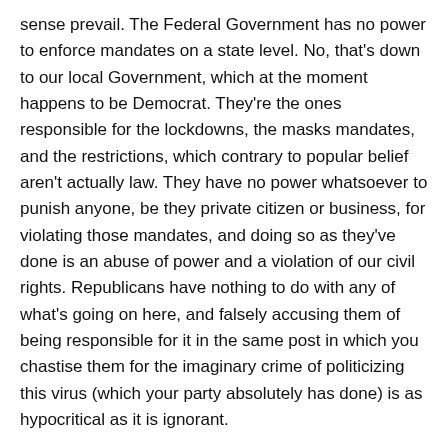sense prevail. The Federal Government has no power to enforce mandates on a state level. No, that's down to our local Government, which at the moment happens to be Democrat. They're the ones responsible for the lockdowns, the masks mandates, and the restrictions, which contrary to popular belief aren't actually law. They have no power whatsoever to punish anyone, be they private citizen or business, for violating those mandates, and doing so as they've done is an abuse of power and a violation of our civil rights. Republicans have nothing to do with any of what's going on here, and falsely accusing them of being responsible for it in the same post in which you chastise them for the imaginary crime of politicizing this virus (which your party absolutely has done) is as hypocritical as it is ignorant.
That you either aren't aware of these things, or don't care and true to Democrat nature can't help but lie is disturbing.